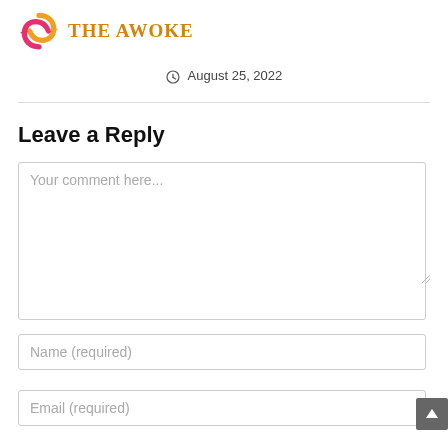[Figure (logo): The Awoke logo: colorful swirl icon in orange, pink, and red alongside the text 'The Awoke' in orange serif font]
August 25, 2022
Leave a Reply
Your comment here...
Name (required)
Email (required)